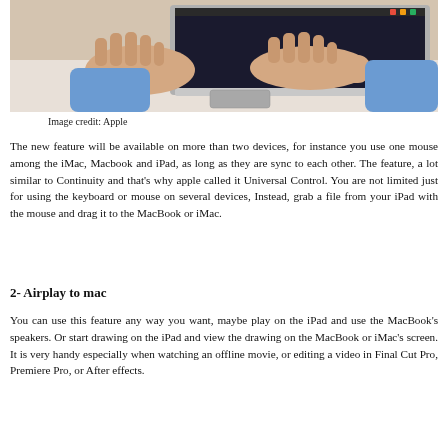[Figure (photo): Person's hands typing on a MacBook laptop keyboard, viewed from above at an angle. The person is wearing a light blue shirt. The MacBook is silver/aluminum.]
Image credit: Apple
The new feature will be available on more than two devices, for instance you use one mouse among the iMac, Macbook and iPad, as long as they are sync to each other. The feature, a lot similar to Continuity and that’s why apple called it Universal Control. You are not limited just for using the keyboard or mouse on several devices, Instead, grab a file from your iPad with the mouse and drag it to the MacBook or iMac.
2- Airplay to mac
You can use this feature any way you want, maybe play on the iPad and use the MacBook’s speakers. Or start drawing on the iPad and view the drawing on the MacBook or iMac’s screen. It is very handy especially when watching an offline movie, or editing a video in Final Cut Pro, Premiere Pro, or After effects.